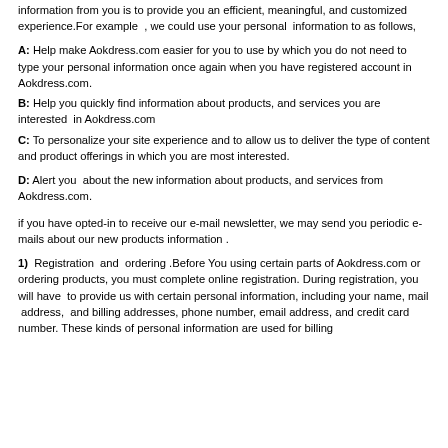information from you is to provide you an efficient, meaningful, and customized experience.For example  , we could use your personal  information to as follows,
A: Help make Aokdress.com easier for you to use by which you do not need to type your personal information once again when you have registered account in Aokdress.com.
B: Help you quickly find information about products, and services you are interested  in Aokdress.com
C: To personalize your site experience and to allow us to deliver the type of content and product offerings in which you are most interested.
D: Alert you  about the new information about products, and services from Aokdress.com.
if you have opted-in to receive our e-mail newsletter, we may send you periodic e-mails about our new products information .
1)  Registration  and  ordering .Before You using certain parts of Aokdress.com or ordering products, you must complete online registration. During registration, you will have  to provide us with certain personal information, including your name, mail  address,  and billing addresses, phone number, email address, and credit card number. These kinds of personal information are used for billing